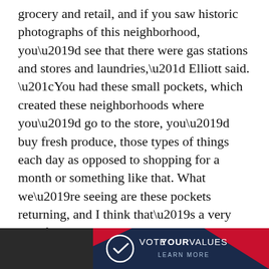grocery and retail, and if you saw historic photographs of this neighborhood, you’d see that there were gas stations and stores and laundries,” Elliott said. “You had these small pockets, which created these neighborhoods where you’d go to the store, you’d buy fresh produce, those types of things each day as opposed to shopping for a month or something like that. What we’re seeing are these pockets returning, and I think that’s a very significant thing happening today.”
The actual district boundaries have yet to be defined, but this whole project has been one of Elliott’s dreams since moving into the Heierding building in 1995. Every morning, he would look out the window and see this boarded- up building across the street that, to him, held so much promise as a useful building and a sort of
[Figure (infographic): Vote Your Values advertisement banner with dark navy and red background, circular logo with checkmark, text reading VOTE YOUR VALUES and LEARN MORE]